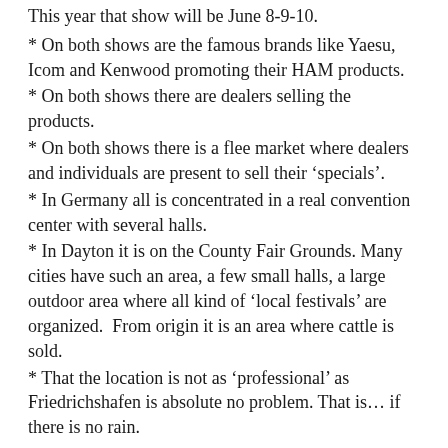This year that show will be June 8-9-10.
* On both shows are the famous brands like Yaesu, Icom and Kenwood promoting their HAM products.
* On both shows there are dealers selling the products.
* On both shows there is a flee market where dealers and individuals are present to sell their ‘specials’.
* In Germany all is concentrated in a real convention center with several halls.
* In Dayton it is on the County Fair Grounds. Many cities have such an area, a few small halls, a large outdoor area where all kind of ‘local festivals’ are organized.  From origin it is an area where cattle is sold.
* That the location is not as ‘professional’ as Friedrichshafen is absolute no problem. That is… if there is no rain.